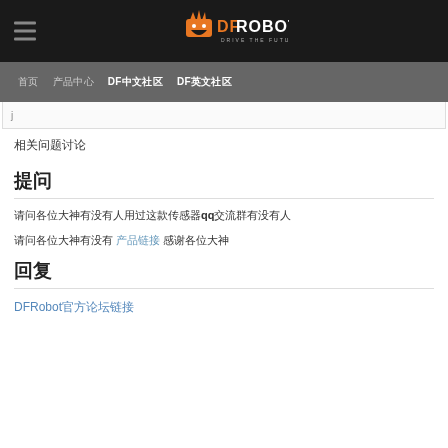DFRobot - DRIVE THE FUTURE
首页  产品中心  DF中文社区  DF英文社区
j
相关问题讨论
提问
请问各位大神有没有人用过这款传感器qq交流群有没有人
请问各位大神有没有 产品链接 感谢各位大神
回复
DFRobot官方论坛链接